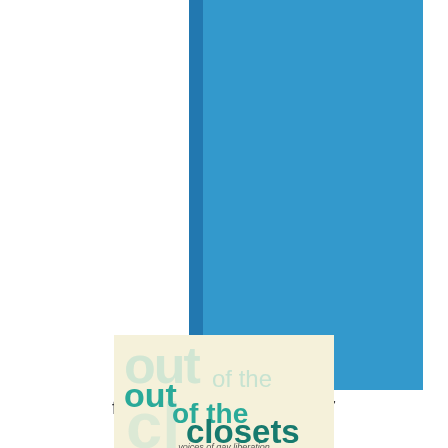[Figure (photo): A blue hardcover book shown from slightly above, with a darker blue spine visible on the left side. The cover is a solid medium-to-bright blue color.]
forgotten history, 1857-1947
[Figure (photo): Book cover for 'out of the closets: voices of gay liberation' with overlapping teal/turquoise text on a cream/light yellow background. The words 'out', 'of the', and 'closets' are shown in multiple layered sizes and opacities.]